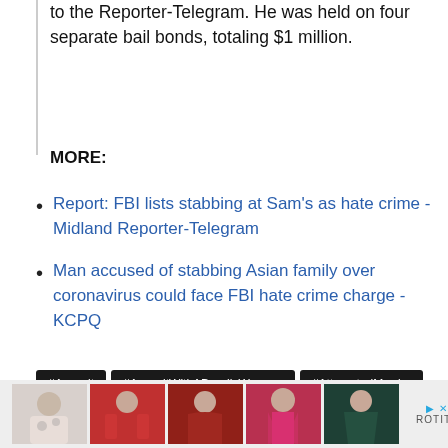to the Reporter-Telegram. He was held on four separate bail bonds, totaling $1 million.
MORE:
Report: FBI lists stabbing at Sam's as hate crime - Midland Reporter-Telegram
Man accused of stabbing Asian family over coronavirus could face FBI hate crime charge - KCPQ
#Assault #AssaultWithADeadlyWeapon #AttemptedMurder #Coronavirus #FBI #HateCrime #KCPQ #Stabbing #Texas
[Figure (photo): Advertisement banner showing clothing items with Rotita branding]